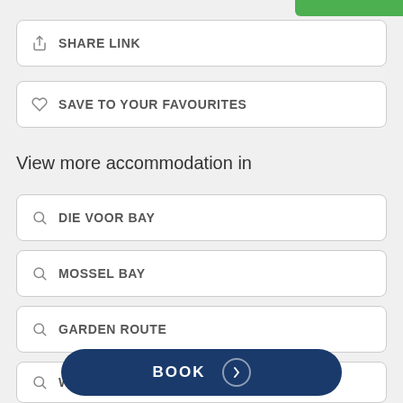SHARE LINK
SAVE TO YOUR FAVOURITES
View more accommodation in
DIE VOOR BAY
MOSSEL BAY
GARDEN ROUTE
WESTERN CAPE
BOOK